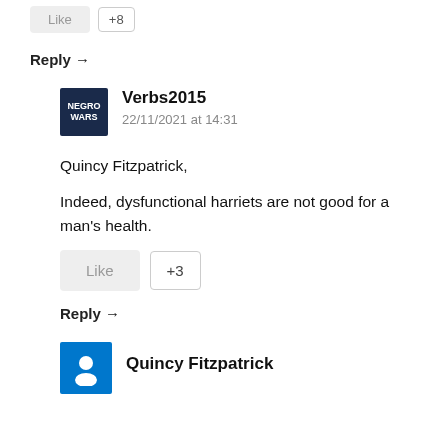Like  +8
Reply →
Verbs2015
22/11/2021 at 14:31
Quincy Fitzpatrick,
Indeed, dysfunctional harriets are not good for a man's health.
Like  +3
Reply →
Quincy Fitzpatrick